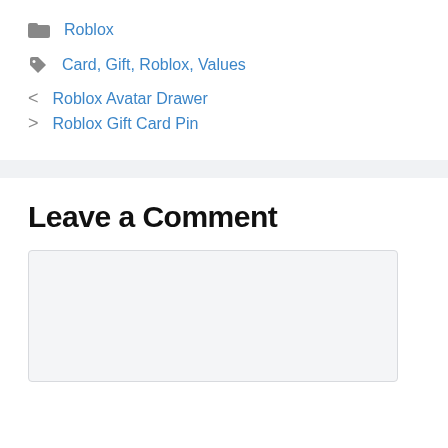Roblox
Card, Gift, Roblox, Values
< Roblox Avatar Drawer
> Roblox Gift Card Pin
Leave a Comment
[Figure (other): Empty comment text area input box]